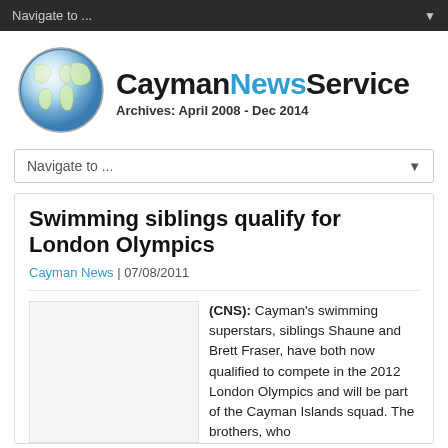Navigate to ...
[Figure (logo): Cayman News Service logo with globe icon. Text reads: CaymanNewsService. Archives: April 2008 - Dec 2014]
Navigate to ...
Swimming siblings qualify for London Olympics
Cayman News | 07/08/2011
(CNS): Cayman's swimming superstars, siblings Shaune and Brett Fraser, have both now qualified to compete in the 2012 London Olympics and will be part of the Cayman Islands squad. The brothers, who